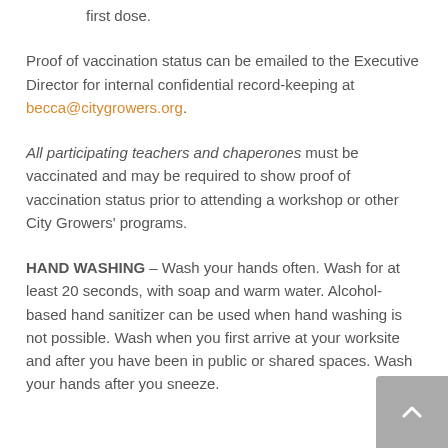first dose.
Proof of vaccination status can be emailed to the Executive Director for internal confidential record-keeping at becca@citygrowers.org.
All participating teachers and chaperones must be vaccinated and may be required to show proof of vaccination status prior to attending a workshop or other City Growers' programs.
HAND WASHING – Wash your hands often. Wash for at least 20 seconds, with soap and warm water. Alcohol-based hand sanitizer can be used when hand washing is not possible. Wash when you first arrive at your worksite and after you have been in public or shared spaces. Wash your hands after you sneeze.